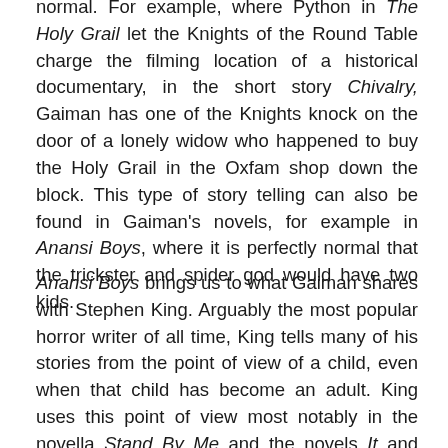normal. For example, where Python in The Holy Grail let the Knights of the Round Table charge the filming location of a historical documentary, in the short story Chivalry, Gaiman has one of the Knights knock on the door of a lonely widow who happened to buy the Holy Grail in the Oxfam shop down the block. This type of story telling can also be found in Gaiman's novels, for example in Anansi Boys, where it is perfectly normal that the trickster and spider god would have two kids.
Anansi Boys brings us to what Gaiman shares with Stephen King. Arguably the most popular horror writer of all time, King tells many of his stories from the point of view of a child, even when that child has become an adult. King uses this point of view most notably in the novella Stand By Me and the novels It and The Shining, as well as most recently in the latter's sequel, Doctor Sleep.